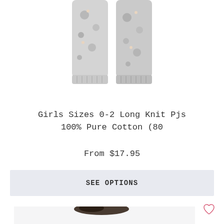[Figure (photo): Partial view of grey knit pajama pants with hedgehog/animal print pattern, showing the lower legs against a white background]
Girls Sizes 0-2 Long Knit Pjs 100% Pure Cotton (80
From $17.95
SEE OPTIONS
[Figure (photo): Woman with long dark hair smiling, wearing a white and blue raglan/baseball style t-shirt, against a white background]